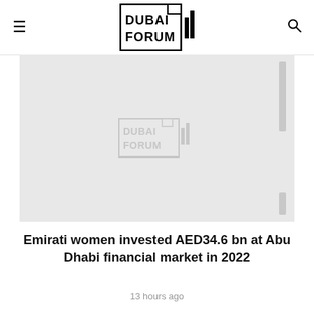DUBAI FORUM
[Figure (logo): Dubai Forum logo with bar chart icon inside a rectangular border]
[Figure (photo): Gray placeholder image with faint Dubai Forum watermark logo in the center, and scrollbar-like white rectangles on the right side]
Emirati women invested AED34.6 bn at Abu Dhabi financial market in 2022
13 hours ago